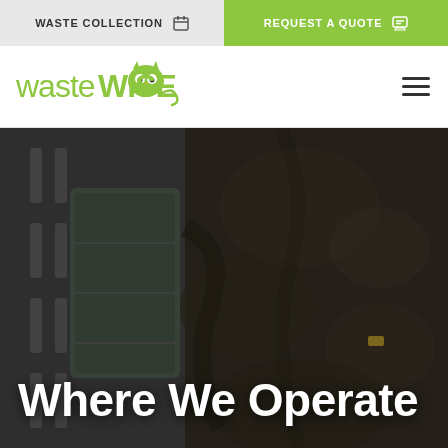WASTE COLLECTION | REQUEST A QUOTE
[Figure (logo): WasteWise company logo with owl icon in lime green]
[Figure (photo): Aerial/overhead dark photo of waste facility with trucks and road markings, overlaid with white bold text 'Where We Operate']
Where We Operate